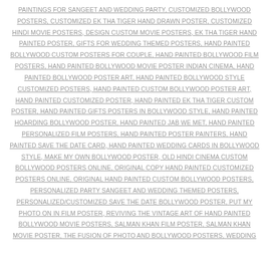PAINTINGS FOR SANGEET AND WEDDING PARTY, CUSTOMIZED BOLLYWOOD POSTERS, CUSTOMIZED EK THA TIGER HAND DRAWN POSTER, CUSTOMIZED HINDI MOVIE POSTERS, DESIGN CUSTOM MOVIE POSTERS, EK THA TIGER HAND PAINTED POSTER, GIFTS FOR WEDDING THEMED POSTERS, HAND PAINTED BOLLYWOOD CUSTOM POSTERS FOR COUPLE, HAND PAINTED BOLLYWOOD FILM POSTERS, HAND PAINTED BOLLYWOOD MOVIE POSTER INDIAN CINEMA, HAND PAINTED BOLLYWOOD POSTER ART, HAND PAINTED BOLLYWOOD STYLE CUSTOMIZED POSTERS, HAND PAINTED CUSTOM BOLLYWOOD POSTER ART, HAND PAINTED CUSTOMIZED POSTER, HAND PAINTED EK THA TIGER CUSTOM POSTER, HAND PAINTED GIFTS POSTERS IN BOLLYWOOD STYLE, HAND PAINTED HOARDING BOLLYWOOD POSTER, HAND PAINTED JAB WE MET, HAND PAINTED PERSONALIZED FILM POSTERS, HAND PAINTED POSTER PAINTERS, HAND PAINTED SAVE THE DATE CARD, HAND PAINTED WEDDING CARDS IN BOLLYWOOD STYLE, MAKE MY OWN BOLLYWOOD POSTER, OLD HINDI CINEMA CUSTOM BOLLYWOOD POSTERS ONLINE, ORIGINAL COPY HAND PAINTED CUSTOMIZED POSTERS ONLINE, ORIGINAL HAND PAINTED CUSTOM BOLLYWOOD POSTERS, PERSONALIZED PARTY SANGEET AND WEDDING THEMED POSTERS, PERSONALIZED/CUSTOMIZED SAVE THE DATE BOLLYWOOD POSTER, PUT MY PHOTO ON IN FILM POSTER, REVIVING THE VINTAGE ART OF HAND PAINTED BOLLYWOOD MOVIE POSTERS, SALMAN KHAN FILM POSTER, SALMAN KHAN MOVIE POSTER, THE FUSION OF PHOTO AND BOLLYWOOD POSTERS, WEDDING